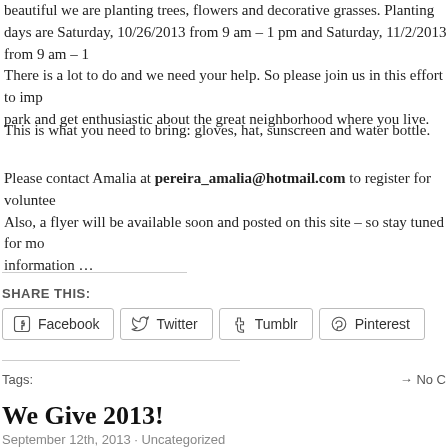beautiful we are planting trees, flowers and decorative grasses. Planting days are Saturday, 10/26/2013 from 9 am – 1 pm and Saturday, 11/2/2013 from 9 am – 1 There is a lot to do and we need your help. So please join us in this effort to improve park and get enthusiastic about the great neighborhood where you live.
This is what you need to bring: gloves, hat, sunscreen and water bottle.
Please contact Amalia at pereira_amalia@hotmail.com to register for volunteer. Also, a flyer will be available soon and posted on this site – so stay tuned for more information …
SHARE THIS:
Tags:
We Give 2013!
September 12th, 2013 · Uncategorized